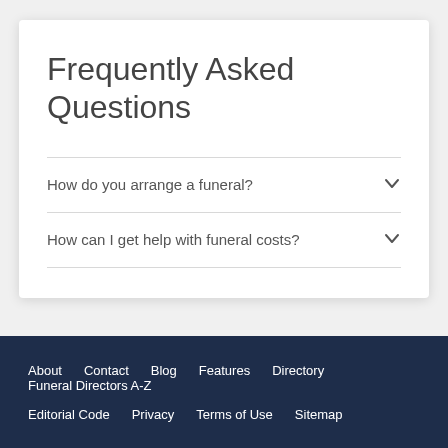Frequently Asked Questions
How do you arrange a funeral?
How can I get help with funeral costs?
About  Contact  Blog  Features  Directory  Funeral Directors A-Z  Editorial Code  Privacy  Terms of Use  Sitemap